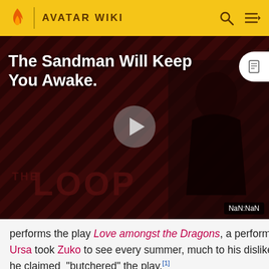AVATAR WIKI
[Figure (screenshot): Video player showing 'The Sandman Will Keep You Awake' promo with THE LOOP branding and a play button. Shows NaN:NaN timestamp.]
performs the play Love amongst the Dragons, a performance Ursa took Zuko to see every summer, much to his dislike, as he claimed [text cut off] "butchered" the play.[1]
[Figure (screenshot): Watermelon survey widget with thumbnail - 'Watermelon survey ... think about Harry Styl...' TAKE THE SURVEY H...]